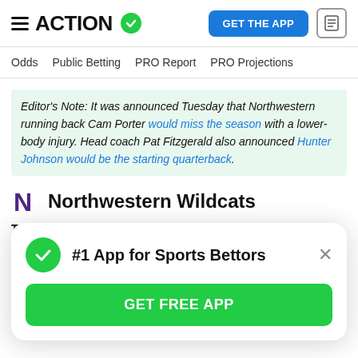ACTION — GET THE APP
Odds  Public Betting  PRO Report  PRO Projections
Editor's Note: It was announced Tuesday that Northwestern running back Cam Porter would miss the season with a lower-body injury. Head coach Pat Fitzgerald also announced Hunter Johnson would be the starting quarterback.
Northwestern Wildcats
Top Play: RB Cam Porter (out for season)
Potential Bust: N/A
#1 App for Sports Bettors
GET FREE APP